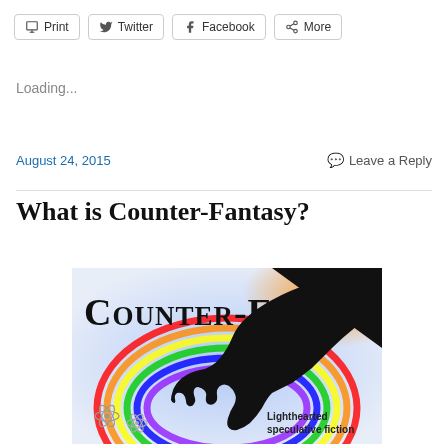Print  Twitter  Facebook  More
Loading...
August 24, 2015    Leave a Reply
What is Counter-Fantasy?
[Figure (illustration): Counter-Fantasy book cover showing rainbow background with silhouette of a hand, large bold text reading COUNTER-FANTASY, and subtitle text 'Lighthearted speculative fiction']